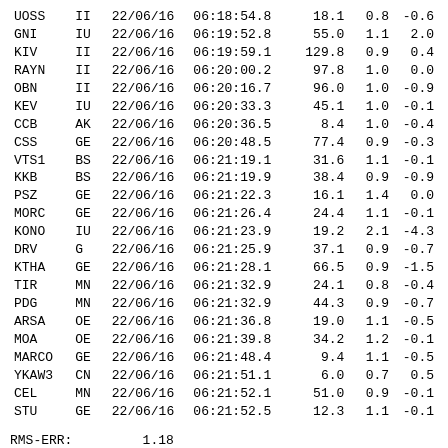| Station | Net | Date | Time | Dist | Col5 | Col6 |
| --- | --- | --- | --- | --- | --- | --- |
| UOSS | II | 22/06/16 | 06:18:54.8 | 18.1 | 0.8 | -0.6 |
| GNI | IU | 22/06/16 | 06:19:52.8 | 55.0 | 1.1 | 2.0 |
| KIV | II | 22/06/16 | 06:19:59.1 | 129.8 | 0.9 | 0.4 |
| RAYN | II | 22/06/16 | 06:20:00.2 | 97.8 | 1.0 | 0.0 |
| OBN | II | 22/06/16 | 06:20:16.7 | 96.0 | 1.0 | -0.9 |
| KEV | IU | 22/06/16 | 06:20:33.3 | 45.1 | 1.0 | -0.1 |
| CCB | AK | 22/06/16 | 06:20:36.5 | 8.4 | 1.0 | -0.4 |
| CSS | GE | 22/06/16 | 06:20:48.5 | 77.4 | 0.9 | -0.3 |
| VTS1 | BS | 22/06/16 | 06:21:19.1 | 31.6 | 1.1 | -0.1 |
| KKB | BS | 22/06/16 | 06:21:19.9 | 38.4 | 0.9 | -0.9 |
| PSZ | GE | 22/06/16 | 06:21:22.3 | 16.1 | 1.4 | 0.0 |
| MORC | GE | 22/06/16 | 06:21:26.4 | 24.4 | 1.1 | -0.1 |
| KONO | IU | 22/06/16 | 06:21:23.9 | 19.2 | 2.1 | -4.3 |
| DRV | G | 22/06/16 | 06:21:25.9 | 37.1 | 0.9 | -0.7 |
| KTHA | GE | 22/06/16 | 06:21:28.1 | 66.5 | 0.9 | -1.5 |
| TIR | MN | 22/06/16 | 06:21:32.9 | 24.1 | 0.8 | -0.4 |
| PDG | MN | 22/06/16 | 06:21:32.9 | 44.3 | 0.9 | -0.7 |
| ARSA | OE | 22/06/16 | 06:21:36.8 | 19.0 | 1.1 | -0.5 |
| MOA | OE | 22/06/16 | 06:21:39.8 | 34.2 | 1.2 | -0.1 |
| MARCO | GE | 22/06/16 | 06:21:48.4 | 9.4 | 1.1 | -0.5 |
| YKAW3 | CN | 22/06/16 | 06:21:51.1 | 6.0 | 0.7 | 0.5 |
| CEL | MN | 22/06/16 | 06:21:52.1 | 51.0 | 0.9 | -0.1 |
| STU | GE | 22/06/16 | 06:21:52.5 | 12.3 | 1.1 | -0.1 |
RMS-ERR:         1.18
First location:  2022/06/16 06:20:58
This location:   2022/06/16 06:45:08